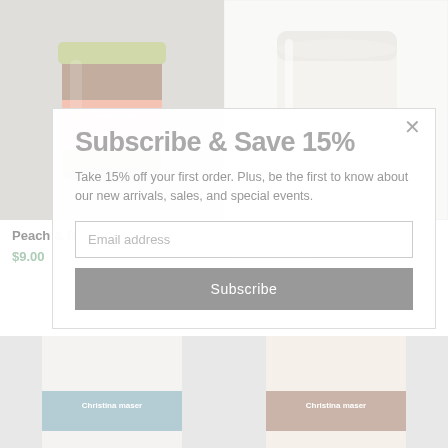[Figure (photo): Jar of Peach & Red Raspberry Jam with a salmon/orange label and gold lid, on gray background]
[Figure (photo): White/cream unscented candle in glass jar, partially cropped, on white background]
Subscribe & Save 15%
Take 15% off your first order. Plus, be the first to know about our new arrivals, sales, and special events.
Email address
Subscribe
Peach & Red Raspberry Jam
$9.00
Unscented Candle
from $12.00
[Figure (photo): White candle in glass jar with Christina Maser teal label, bottom portion visible]
[Figure (photo): Cream/beige candle in glass jar with Christina Maser label, bottom portion visible]